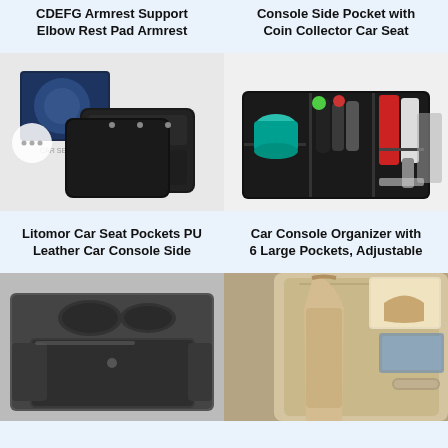CDEFG Armrest Support Elbow Rest Pad Armrest
Console Side Pocket with Coin Collector Car Seat
[Figure (photo): Black leather car seat pocket organizers with a product box, shown in pairs]
[Figure (photo): Black fabric car console organizer filled with bottles, cups and items]
Litomor Car Seat Pockets PU Leather Car Console Side
Car Console Organizer with 6 Large Pockets, Adjustable
[Figure (photo): Black plastic car console organizer tray with cup holders]
[Figure (photo): Beige car interior showing a bag hanging from the seat headrest area]